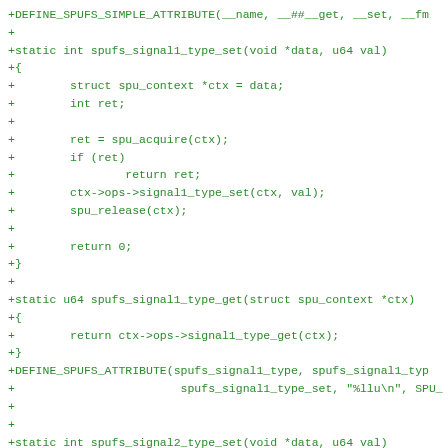[Figure (screenshot): Code diff snippet in green monospace font showing C source code additions for spufs signal1_type_set and spufs_signal1_type_get functions, plus DEFINE_SPUFS macros.]